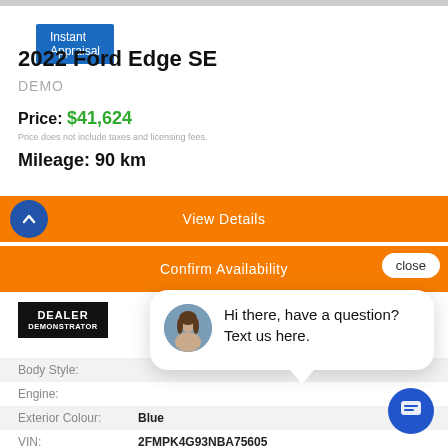[Figure (screenshot): Instant Appraisal blue button]
2022 Ford Edge SE
DEMO
Price: $41,624
Price does not include taxes and licensing fees.
Mileage: 90 km
[Figure (screenshot): View Details orange button with blue arrow circle]
[Figure (screenshot): Confirm Availability orange button with close pill]
[Figure (screenshot): Dealer Demonstrator black badge]
| Field | Value |
| --- | --- |
| Body Style: |  |
| Engine: |  |
| Exterior Colour: | Blue |
| VIN: | 2FMPK4G93NBA75605 |
| Transmission: | Automatic |
| Drivetrain: | All Wheel Drive |
[Figure (screenshot): Chat popup with avatar and text: Hi there, have a question? Text us here.]